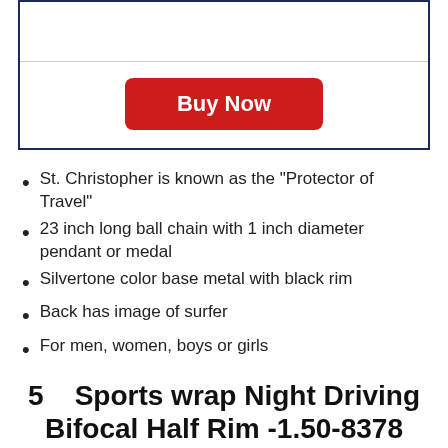[Figure (other): Bordered box with a horizontal divider and a red 'Buy Now' button centered inside]
St. Christopher is known as the "Protector of Travel"
23 inch long ball chain with 1 inch diameter pendant or medal
Silvertone color base metal with black rim
Back has image of surfer
For men, women, boys or girls
5   Sports wrap Night Driving Bifocal Half Rim -1.50-8378